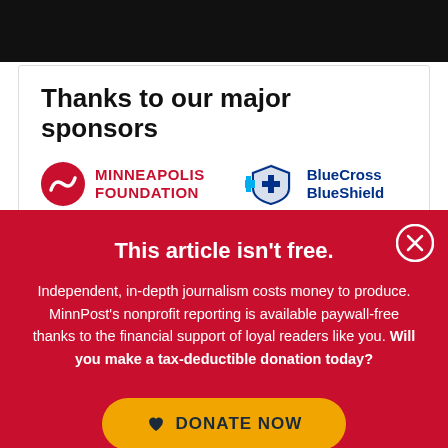Thanks to our major sponsors
[Figure (logo): Minneapolis Foundation logo — red circular wave icon with MINNEAPOLIS FOUNDATION in red bold caps]
[Figure (logo): BlueCross BlueShield logo — blue cross and shield icon with BlueCross BlueShield in blue bold text]
This article isn't free.
Independent, in-depth journalism costs money to produce. MinnPost's nonprofit reporting is available paywall-free thanks to the financial support of loyal readers like you. Will you make a tax-deductible donation today?
[Figure (other): DONATE NOW button in gold/amber color with a heart icon]